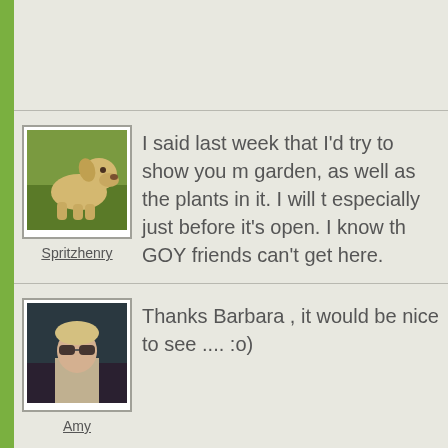[Figure (screenshot): Forum/blog comment thread showing three comments with user avatars and text. Green left sidebar bar. Light beige/gray background. Three comment rows separated by horizontal rules.]
[Figure (photo): Avatar photo of a yellow Labrador dog lying on green grass, used for user Spritzhenry]
Spritzhenry
I said last week that I'd try to show you m garden, as well as the plants in it. I will t especially just before it's open. I know th GOY friends can't get here.
[Figure (photo): Avatar photo of a woman wearing sunglasses sitting outdoors, used for user Amy]
Amy
Thanks Barbara , it would be nice to see .... :o)
[Figure (photo): Avatar photo of a yellow Labrador dog lying on green grass, used for user Spritzhenry]
Spritzhenry
I know that I enjoy seeing gardens, too - have a go...my camera isn't really up to shots...